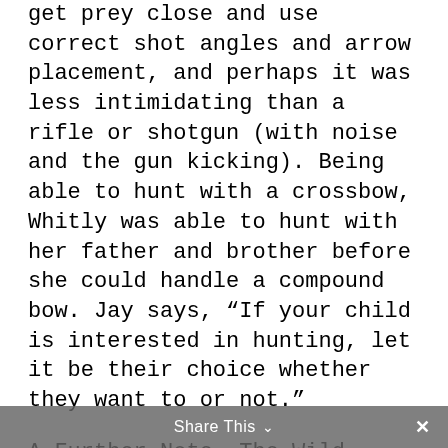get prey close and use correct shot angles and arrow placement, and perhaps it was less intimidating than a rifle or shotgun (with noise and the gun kicking). Being able to hunt with a crossbow, Whitly was able to hunt with her father and brother before she could handle a compound bow. Jay says, “If your child is interested in hunting, let it be their choice whether they want to or not.”
A Further Note, The Wild Outdoors episode of Whitly’s turkey hunt from this Spring was nominated for an Outdoor Sportsman award by the Outdoor Channel for noteworthy moments in hunting television:
Congratulations Whitly to you for your interest and participation in hunting and bowhunting. You’re amazing